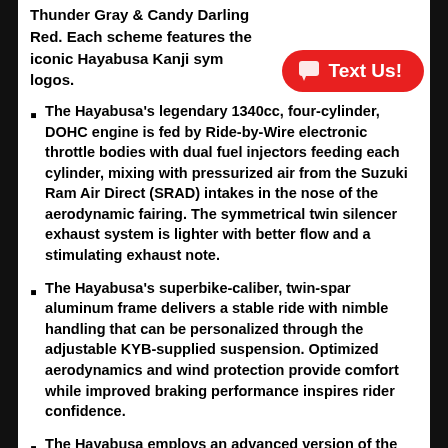Thunder Gray & Candy Darling Red. Each scheme features the iconic Hayabusa Kanji symbols and logos.
The Hayabusa's legendary 1340cc, four-cylinder, DOHC engine is fed by Ride-by-Wire electronic throttle bodies with dual fuel injectors feeding each cylinder, mixing with pressurized air from the Suzuki Ram Air Direct (SRAD) intakes in the nose of the aerodynamic fairing. The symmetrical twin silencer exhaust system is lighter with better flow and a stimulating exhaust note.
The Hayabusa's superbike-caliber, twin-spar aluminum frame delivers a stable ride with nimble handling that can be personalized through the adjustable KYB-supplied suspension. Optimized aerodynamics and wind protection provide comfort while improved braking performance inspires rider confidence.
The Hayabusa employs an advanced version of the Suzuki Intelligent Ride System (S.I.R.S.); a comprehensive collection of electronic rider aids like Cruise Control and Bi-directional Quick Shift systems